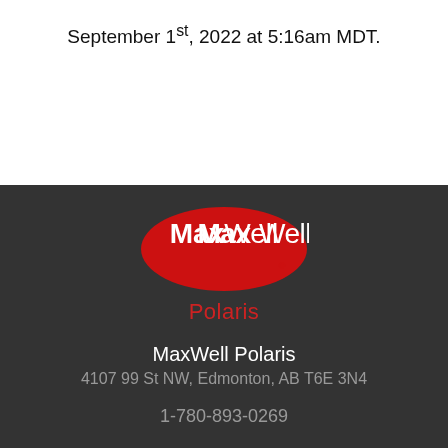September 1st, 2022 at 5:16am MDT.
[Figure (logo): MaxWell Polaris real estate company logo: red oval with white 'MaxWell' text and 'Polaris' in red below on dark background]
MaxWell Polaris
4107 99 St NW, Edmonton, AB T6E 3N4
1-780-893-0269